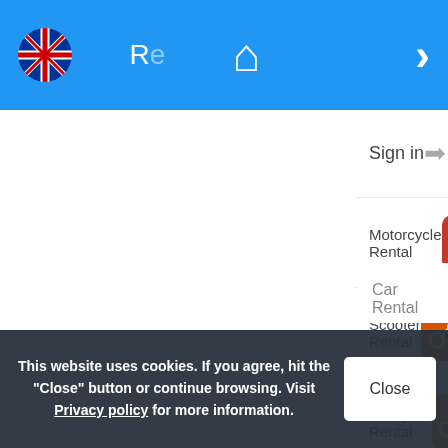[Figure (screenshot): Mobile app navigation bar with UK flag icon on left, home icon in center, right chevron on right, all on blue background]
Bicycle hire Burga…
Bicycle rental Varn…
Bicycle hire Plovdi…
Bicycle rental Nice…
Bicycle hire Mona…
Bicycle rent Sardin…
Bicycle hire Barce…
Bike rent Thessalo…
Sign in
Motorcycle Rental
Scooter Rental
Atv-Quad Rental
Bicycle Rental
Car Rental
This website uses cookies. If you agree, hit the "Close" button or continue browsing. Visit Privacy policy for more information.
Close